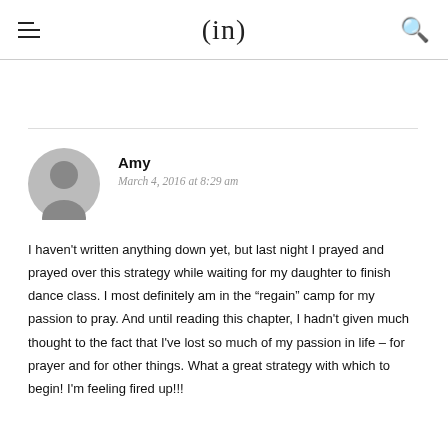(in)
Amy
March 4, 2016 at 8:29 am
I haven't written anything down yet, but last night I prayed and prayed over this strategy while waiting for my daughter to finish dance class. I most definitely am in the “regain” camp for my passion to pray. And until reading this chapter, I hadn't given much thought to the fact that I've lost so much of my passion in life – for prayer and for other things. What a great strategy with which to begin! I'm feeling fired up!!!